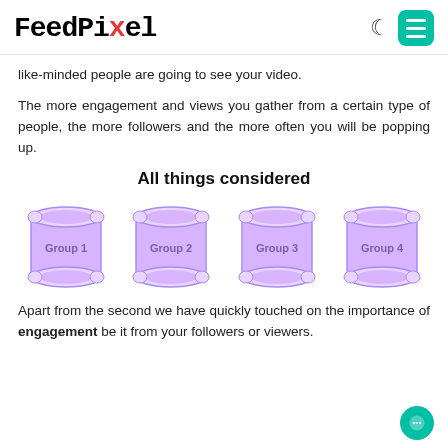FeedPixel
like-minded people are going to see your video.
The more engagement and views you gather from a certain type of people, the more followers and the more often you will be popping up.
All things considered
[Figure (infographic): Four scroll/parchment icons labeled Group 1, Group 2, Group 3, Group 4 with purple fill]
Apart from the second we have quickly touched on the importance of engagement be it from your followers or viewers.